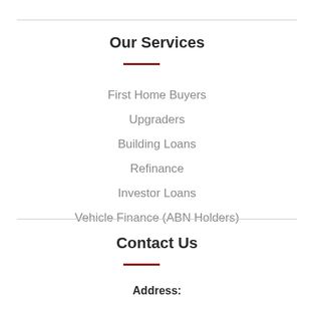Our Services
First Home Buyers
Upgraders
Building Loans
Refinance
Investor Loans
Vehicle Finance (ABN Holders)
Contact Us
Address: